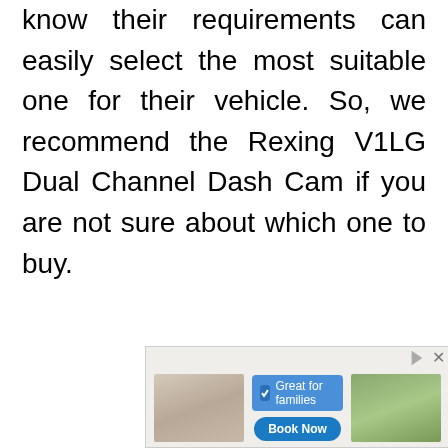know their requirements can easily select the most suitable one for their vehicle. So, we recommend the Rexing V1LG Dual Channel Dash Cam if you are not sure about which one to buy.
[Figure (other): Advertisement banner showing people dining, with a blue checkbox tag reading 'Great for families' and a 'Book Now' button.]